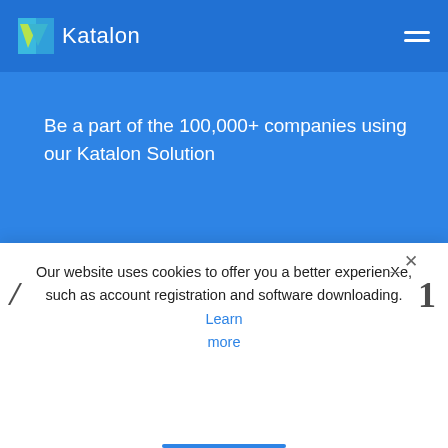[Figure (logo): Katalon logo with green/blue checkmark icon and white text 'Katalon' on blue navbar background]
Be a part of the 100,000+ companies using our Katalon Solution
[Figure (logo): Company logos row: SAMSUNG, CVS Health (with heart icon), Unilever (with U emblem), Deloitte (partially visible) on blue background]
Our website uses cookies to offer you a better experience, such as account registration and software downloading. Learn more